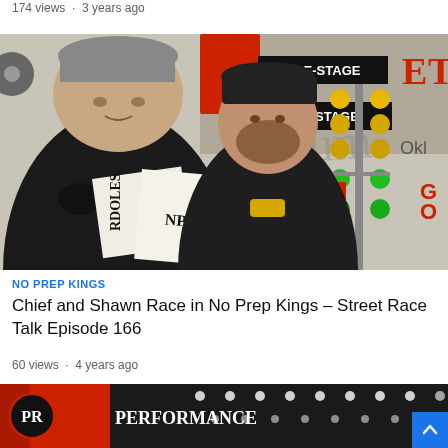174 views · 3 years ago
[Figure (photo): Two men standing indoors near a drag racing Christmas tree light setup. One man in a black hoodie and grey cap holds papers labeled 'NPK RULES'. The background shows PRE-STAGE and STAGE signs and a NO MUSTANG sign on a vertical tower with yellow and green lights.]
NO PREP KINGS
Chief and Shawn Race in No Prep Kings – Street Race Talk Episode 166
60 views · 4 years ago
[Figure (photo): Partial thumbnail showing a performance/racing event venue with lights and text reading PERFORMANCE.]